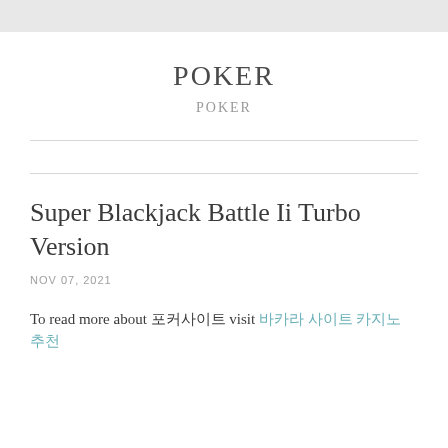POKER
POKER
Super Blackjack Battle Ii Turbo Version
NOV 07, 2021
To read more about 포커사이트 visit 바카라 사이트 카지노 추천